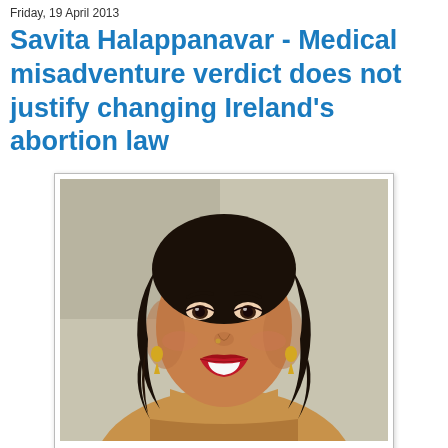Friday, 19 April 2013
Savita Halappanavar - Medical misadventure verdict does not justify changing Ireland's abortion law
[Figure (photo): Portrait photograph of Savita Halappanavar, a young woman with dark shoulder-length wavy hair, wearing gold earrings and a necklace, smiling with red lipstick, dressed in traditional attire, against a light background.]